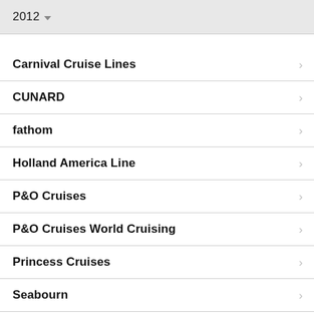2012 ▾
Carnival Cruise Lines
CUNARD
fathom
Holland America Line
P&O Cruises
P&O Cruises World Cruising
Princess Cruises
Seabourn
S... (partially visible)